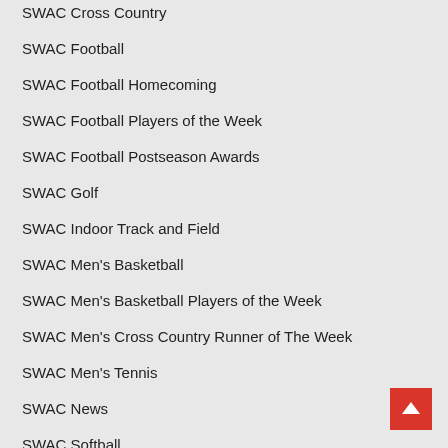SWAC Cross Country
SWAC Football
SWAC Football Homecoming
SWAC Football Players of the Week
SWAC Football Postseason Awards
SWAC Golf
SWAC Indoor Track and Field
SWAC Men's Basketball
SWAC Men's Basketball Players of the Week
SWAC Men's Cross Country Runner of The Week
SWAC Men's Tennis
SWAC News
SWAC Softball
SWAC Sports News